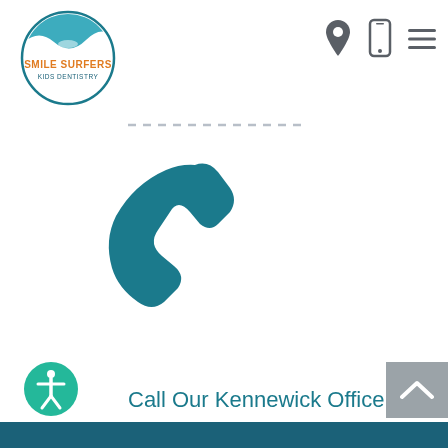[Figure (logo): Smile Surfers Kids Dentistry circular logo with wave and surf imagery]
[Figure (other): Navigation icons: location pin, mobile phone, hamburger menu]
[Figure (other): Teal telephone/phone handset icon, large, centered]
Call Our Kennewick Office
509-581-4455
[Figure (other): Gray scroll-to-top button with upward chevron]
[Figure (other): Green accessibility icon button (person in circle)]